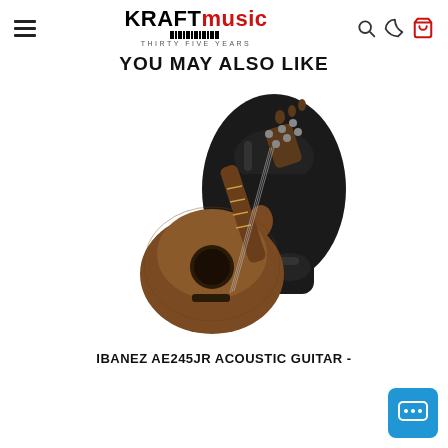KRAFT music THIRTY FIVE YEARS
YOU MAY ALSO LIKE
[Figure (photo): An Ibanez AE245JR acoustic guitar in natural wood finish leaning against a black gig bag]
IBANEZ AE245JR ACOUSTIC GUITAR -